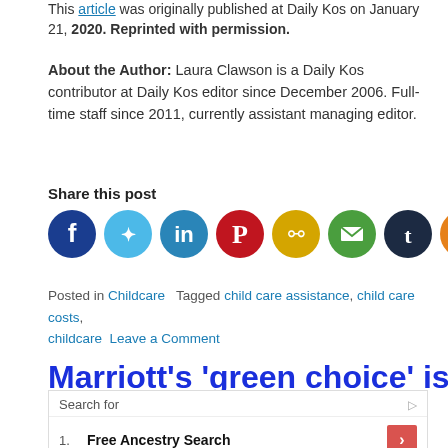This article was originally published at Daily Kos on January 21, 2020. Reprinted with permission.
About the Author: Laura Clawson is a Daily Kos contributor at Daily Kos editor since December 2006. Full-time staff since 2011, currently assistant managing editor.
Share this post
[Figure (infographic): Row of 8 social media share icons: Facebook (dark blue), Twitter (light blue), LinkedIn (teal/blue), Pinterest (red), copy link (yellow/gold), email (green), Tumblr (dark navy), share (orange)]
Posted in Childcare   Tagged child care assistance, child care costs, childcare   Leave a Comment
Marriott's 'green choice' isn't so
[Figure (infographic): Advertisement box with 'Search for' header and play icon, listing: 1. Free Ancestry Search, 2. Social Security Benefits, with red arrow buttons. Yahoo! Search | Sponsored at bottom.]